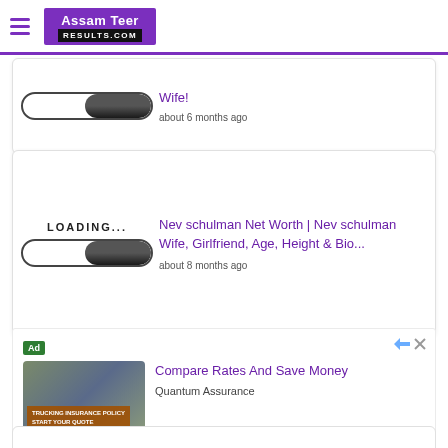Assam Teer Results.com
[Figure (screenshot): Loading placeholder card with progress bar and partial article title ending in 'Wife!' with timestamp 'about 6 months ago']
Wife!
about 6 months ago
[Figure (screenshot): Loading placeholder image with LOADING... text and progress bar]
Nev schulman Net Worth | Nev schulman Wife, Girlfriend, Age, Height & Bio...
about 8 months ago
[Figure (photo): Advertisement photo showing a man in truck cab with text overlay 'TRUCKING INSURANCE POLICY START YOUR QUOTE']
Compare Rates And Save Money
Quantum Assurance